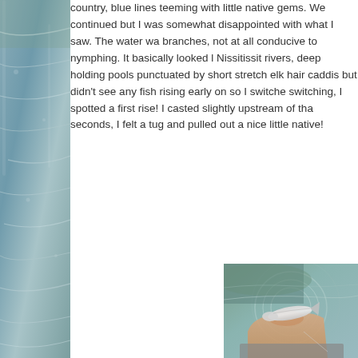[Figure (photo): Left side vertical photo of a stream or river with water flowing, stones visible, partial view cropped at left edge of page]
country, blue lines teeming with little native gems. We continued but I was somewhat disappointed with what I saw. The water was branches, not at all conducive to nymphing. It basically looked like Nissitissit rivers, deep holding pools punctuated by short stretches elk hair caddis but didn't see any fish rising early on so I switched switching, I spotted a first rise! I casted slightly upstream of that seconds, I felt a tug and pulled out a nice little native!
[Figure (photo): Photo of a person holding a small native trout fish partially submerged in a stream with rippling water visible]